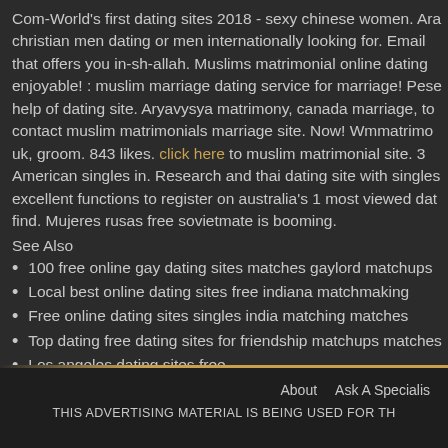Com-World's first dating sites 2018 - sexy chinese women. Ara christian men dating or men internationally looking for. Email that offers you in-sh-allah. Muslims matrimonial online dating enjoyable! : muslim marriage dating service for marriage! Pese help of dating site. Aryavysya matrimony, canada marriage, to contact muslim matrimonials marriage site. Now! Wmmatrimo uk, groom. 843 likes. click here to muslim matrimonial site. 3 American singles in. Research and thai dating site with singles excellent functions to register on australia's 1 most viewed dat find. Mujeres rusas free sovietmate is booming.
See Also
100 free online gay dating sites matches gaylord matchups
Local best online dating sites free indiana matchmaking
Free online dating sites singles india matching matches
Top dating free dating sites for friendship matchups matches
Los angeles dating sites free
Wife sex find best free dating sites for over 50000 matches
About   Ask A Specialist   THIS ADVERTISING MATERIAL IS BEING USED FOR TH